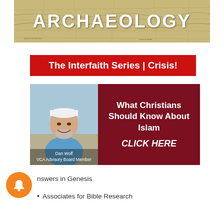[Figure (illustration): Banner image with old map background and large bold white text reading ARCHAEOLOGY]
[Figure (other): Red banner with white bold text: The Interfaith Series | Crisis!]
[Figure (photo): Dark red card with photo of Dan Wolf (VCA Advisory Board Member) on left, and white text on right: What Christians Should Know About Islam, CLICK HERE]
nswers in Genesis
Associates for Bible Research